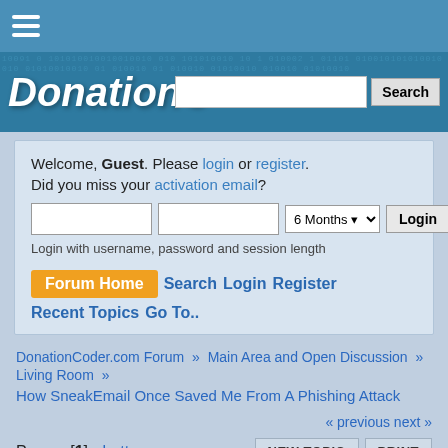DonationCoder.com forum header with hamburger menu and search
[Figure (screenshot): DonationCoder.com forum header banner with logo and binary/code background]
Welcome, Guest. Please login or register. Did you miss your activation email?
Login with username, password and session length
Forum Home  Search  Login  Register  Recent Topics  Go To..
DonationCoder.com Forum » Main Area and Open Discussion » Living Room »
How SneakEmail Once Saved Me From A Phishing Attack
« previous next »
Pages: [1] • bottom
Author  Topic: How